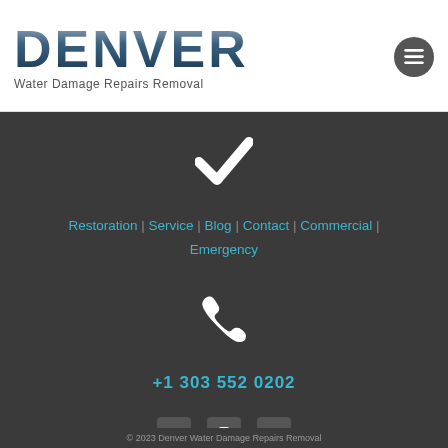DENVER Water Damage Repairs Removal
[Figure (illustration): White checkmark icon on dark background]
Restoration | Service | Blog | Contact | Commercial | Emergency
[Figure (illustration): White phone handset icon on dark background]
+1 303 552 0202
[Figure (illustration): Social media icons: Facebook, Instagram, Google Plus]
© 2023 Denver Water Damage Repairs Removal